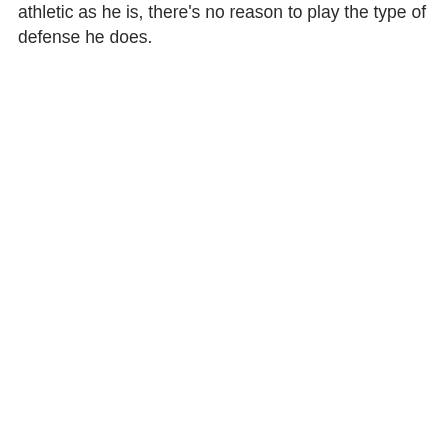athletic as he is, there's no reason to play the type of defense he does.